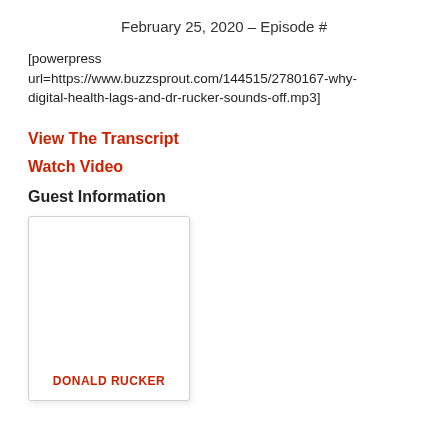February 25, 2020 – Episode #
[powerpress url=https://www.buzzsprout.com/144515/2780167-why-digital-health-lags-and-dr-rucker-sounds-off.mp3]
View The Transcript
Watch Video
Guest Information
[Figure (other): Guest card with name DONALD RUCKER]